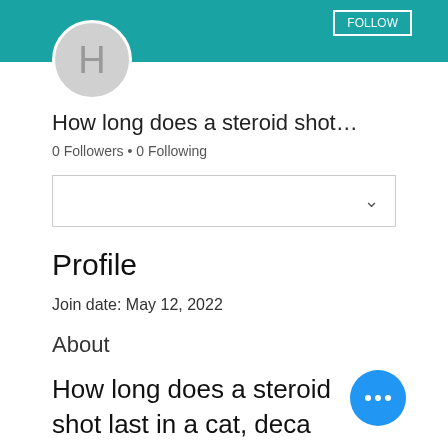[Figure (screenshot): Teal header bar with Follow button]
[Figure (illustration): Gray circular avatar with letter H]
How long does a steroid shot…
0 Followers • 0 Following
[Figure (screenshot): Dropdown selector box with chevron]
Profile
Join date: May 12, 2022
About
How long does a steroid shot last in a cat, deca durabolin dosage